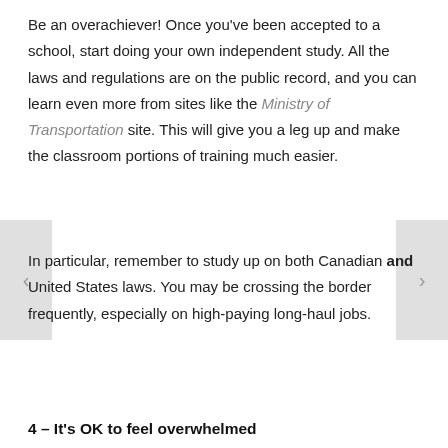Be an overachiever! Once you've been accepted to a school, start doing your own independent study. All the laws and regulations are on the public record, and you can learn even more from sites like the Ministry of Transportation site. This will give you a leg up and make the classroom portions of training much easier.
In particular, remember to study up on both Canadian and United States laws. You may be crossing the border frequently, especially on high-paying long-haul jobs.
4 – It's OK to feel overwhelmed